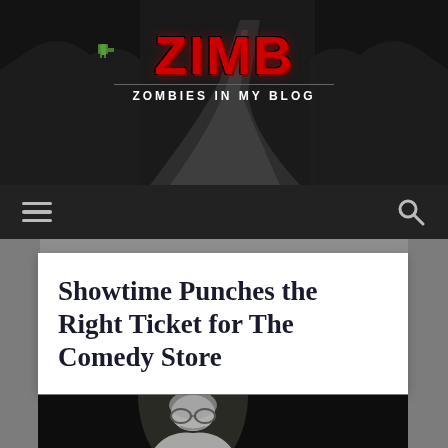[Figure (screenshot): ZIMB (Zombies In My Blog) website header banner with dark moody road/forest background and red splattered logo text]
ZIMB ZOMBIES IN MY BLOG
[Figure (screenshot): Dark navigation bar with hamburger menu icon on left and search (magnifying glass) icon on right]
Showtime Punches the Right Ticket for The Comedy Store
[Figure (photo): Black and white photo of a middle-aged man with glasses and curly hair in spotlight against dark background]